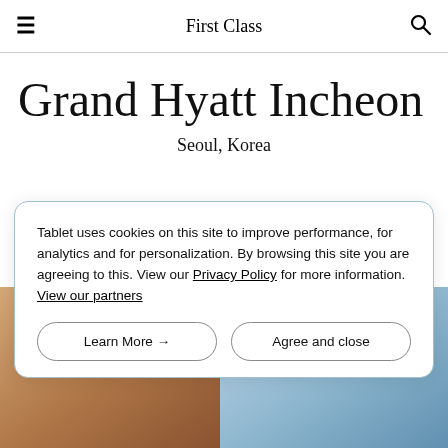First Class
Grand Hyatt Incheon
Seoul, Korea
Tablet uses cookies on this site to improve performance, for analytics and for personalization. By browsing this site you are agreeing to this. View our Privacy Policy for more information. View our partners
[Figure (photo): Hotel interior photos partially visible behind cookie consent banner]